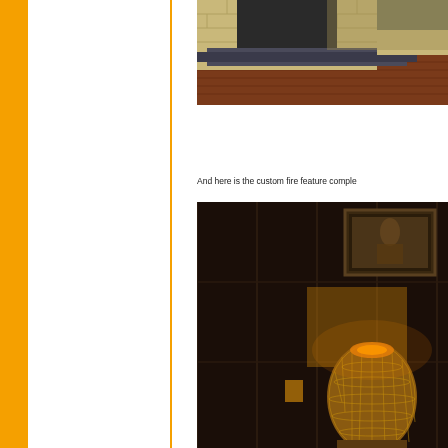[Figure (photo): Fireplace construction with brick surround, slate hearth, and exposed wooden floorboards — appears to be work in progress]
And here is the custom fire feature comple
[Figure (photo): Completed custom fire feature in a room with dark wood paneling, a framed picture on the wall, and a decorative mosaic lamp or vessel]